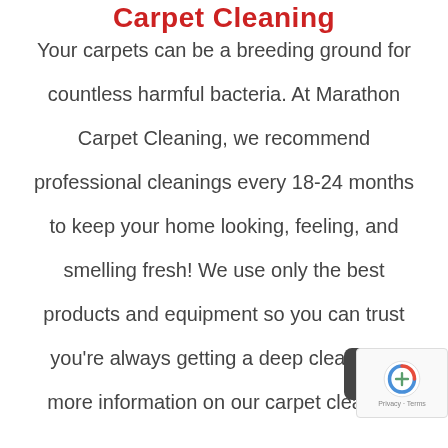Carpet Cleaning
Your carpets can be a breeding ground for countless harmful bacteria. At Marathon Carpet Cleaning, we recommend professional cleanings every 18-24 months to keep your home looking, feeling, and smelling fresh! We use only the best products and equipment so you can trust you're always getting a deep clean. For more information on our carpet cleaning